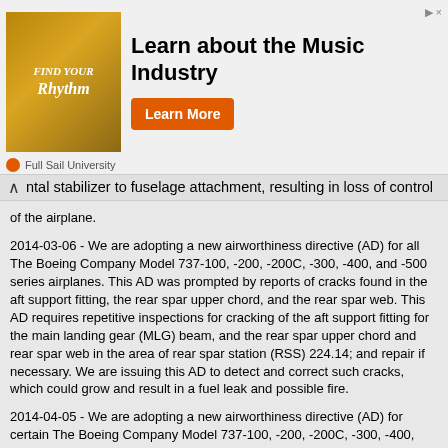[Figure (illustration): Advertisement banner for Full Sail University - Learn about the Music Industry with Learn More button]
ntal stabilizer to fuselage attachment, resulting in loss of control of the airplane.
2014-03-06 - We are adopting a new airworthiness directive (AD) for all The Boeing Company Model 737-100, -200, -200C, -300, -400, and -500 series airplanes. This AD was prompted by reports of cracks found in the aft support fitting, the rear spar upper chord, and the rear spar web. This AD requires repetitive inspections for cracking of the aft support fitting for the main landing gear (MLG) beam, and the rear spar upper chord and rear spar web in the area of rear spar station (RSS) 224.14; and repair if necessary. We are issuing this AD to detect and correct such cracks, which could grow and result in a fuel leak and possible fire.
2014-04-05 - We are adopting a new airworthiness directive (AD) for certain The Boeing Company Model 737-100, -200, -200C, -300, -400, and -500 series airplanes. This AD was prompted by reports of chaffing, arcing, and burning damage to the control cabin overhead wiring and ducting with smoke and fire caused by metal clamps installed on certain hoses. This AD requires inspecting for the presence of metal clamps, replacing metal clamps installed on the hoses to the air conditioning temperature sensor, gasper air outlet,